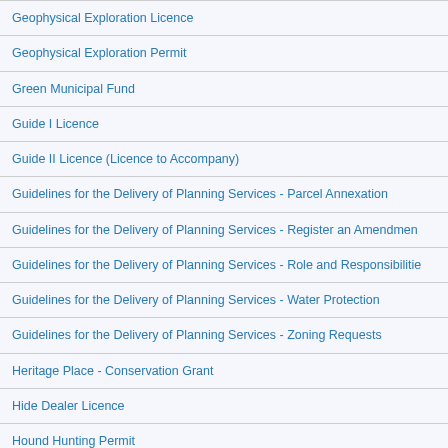| Geophysical Exploration Licence |
| Geophysical Exploration Permit |
| Green Municipal Fund |
| Guide I Licence |
| Guide II Licence (Licence to Accompany) |
| Guidelines for the Delivery of Planning Services - Parcel Annexation |
| Guidelines for the Delivery of Planning Services - Register an Amendment |
| Guidelines for the Delivery of Planning Services - Role and Responsibilities |
| Guidelines for the Delivery of Planning Services - Water Protection |
| Guidelines for the Delivery of Planning Services - Zoning Requests |
| Heritage Place - Conservation Grant |
| Hide Dealer Licence |
| Hound Hunting Permit |